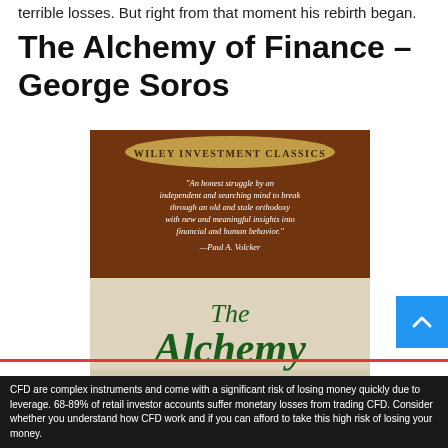terrible losses. But right from that moment his rebirth began.
The Alchemy of Finance – George Soros
[Figure (photo): Book cover of 'The Alchemy of Finance' by George Soros, published as a Wiley Investment Classics edition. The cover shows a quote by Paul A. Volcker: 'An honest struggle by an independent and searching mind to break through an old and stale orthodoxy with new and meaningful insights into financial and human behavior.' The lower portion shows the book title 'The Alchemy' in large dark green script on a cream background.]
CFD are complex instruments and come with a significant risk of losing money quickly due to leverage. 68-89% of retail investor accounts suffer monetary losses from trading CFD. Consider whether you understand how CFD work and if you can afford to take this high risk of losing your money.